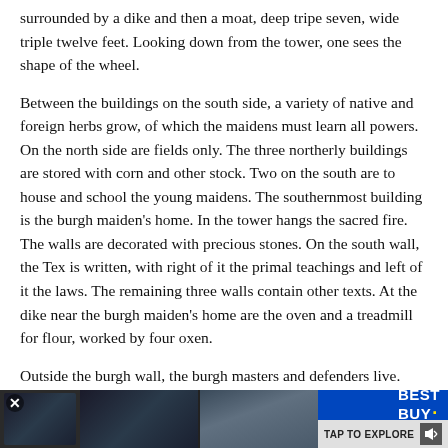surrounded by a dike and then a moat, deep tripe seven, wide triple twelve feet. Looking down from the tower, one sees the shape of the wheel.
Between the buildings on the south side, a variety of native and foreign herbs grow, of which the maidens must learn all powers. On the north side are fields only. The three northerly buildings are stored with corn and other stock. Two on the south are to house and school the young maidens. The southernmost building is the burgh maiden's home. In the tower hangs the sacred fire. The walls are decorated with precious stones. On the south wall, the Tex is written, with right of it the primal teachings and left of it the laws. The remaining three walls contain other texts. At the dike near the burgh maiden's home are the oven and a treadmill for flour, worked by four oxen.
Outside the burgh wall, the burgh masters and defenders live. Their surrounding dike has the size of one 'stand'; not a sailor's - but a solar stand, of which twice twelve go in a natural day. On the inside of the dike, five feet below, is a platform with three hundred crossbows, covered by wood and leather. Besides the homes of the 'insiders', the
[Figure (photo): Advertisement banner at bottom of page showing Best Buy ad with TAP TO EXPLORE button, featuring dark thumbnail images and Best Buy logo in blue]